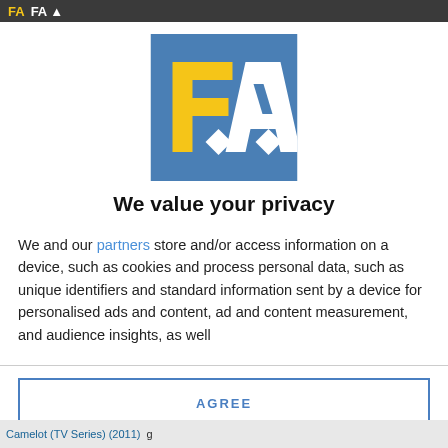FA (logo header bar)
[Figure (logo): FA logo — blue square background with yellow letter F and white letter A]
We value your privacy
We and our partners store and/or access information on a device, such as cookies and process personal data, such as unique identifiers and standard information sent by a device for personalised ads and content, ad and content measurement, and audience insights, as well
AGREE
MORE OPTIONS
Camelot (TV Series) (2011)